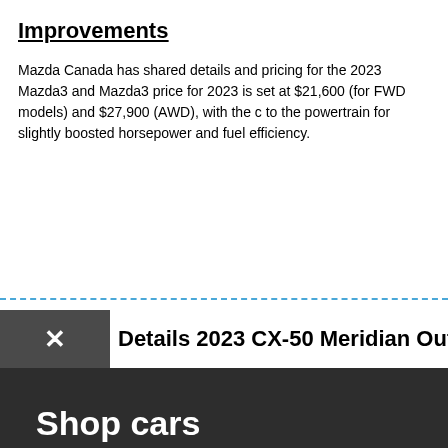Improvements
Mazda Canada has shared details and pricing for the 2023 Mazda3 and Mazda3 price for 2023 is set at $21,600 (for FWD models) and $27,900 (AWD), with the c to the powertrain for slightly boosted horsepower and fuel efficiency.
Details 2023 CX-50 Meridian Outdoorsy Package
Shop cars
Browse the new inventory of new and used cars for sale near you
Browse inventory